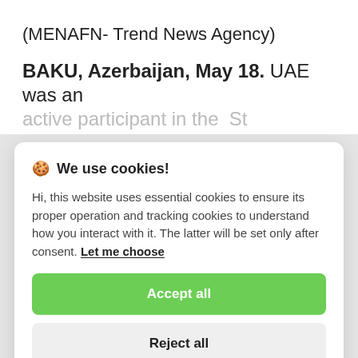(MENAFN- Trend News Agency)
BAKU, Azerbaijan, May 18. UAE was an active participant in the St...
🍪 We use cookies!

Hi, this website uses essential cookies to ensure its proper operation and tracking cookies to understand how you interact with it. The latter will be set only after consent. Let me choose

[Accept all] [Reject all]